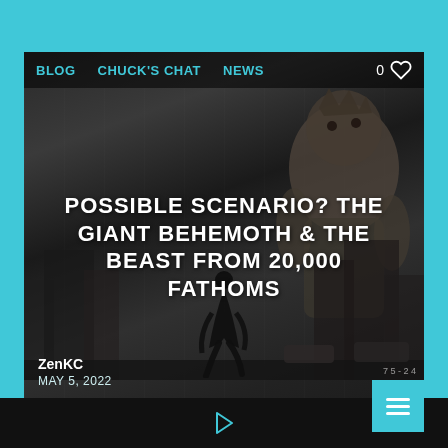BLOG  CHUCK'S CHAT  NEWS
[Figure (photo): Black and white screenshot from a monster movie showing a giant creature towering over a city street with a person running in the foreground. Navigation bar with BLOG, CHUCK'S CHAT, NEWS links and a heart/like icon overlaid at top.]
POSSIBLE SCENARIO? THE GIANT BEHEMOTH & THE BEAST FROM 20,000 FATHOMS
ZenKC
MAY 5, 2022
Story by Chuck Tackett Possible Scenario? The Giant Behemoth & The Beast From 20,000